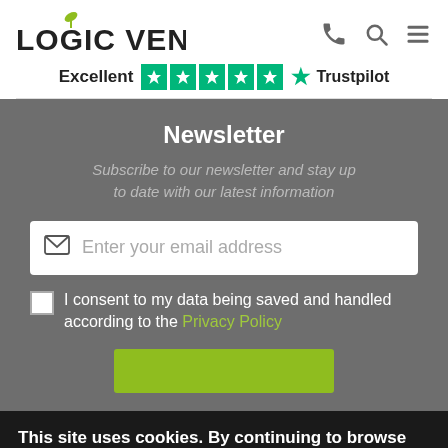[Figure (logo): Logic Vending logo with green leaf icon and bold uppercase text]
[Figure (infographic): Trustpilot rating bar showing 'Excellent' with 5 green star icons and Trustpilot logo]
Newsletter
Subscribe to our newsletter and stay up to date with our latest information
Enter your email address
I consent to my data being saved and handled according to the Privacy Policy
This site uses cookies. By continuing to browse this site, you are agreeing to our use of cookies. Find out more
Accept